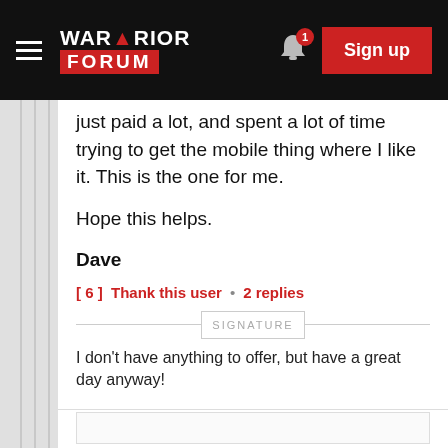Warrior Forum — Sign up
just paid a lot, and spent a lot of time trying to get the mobile thing where I like it. This is the one for me.

Hope this helps.

Dave
[ 6 ]  Thank this user  •  2 replies
SIGNATURE
I don't have anything to offer, but have a great day anyway!